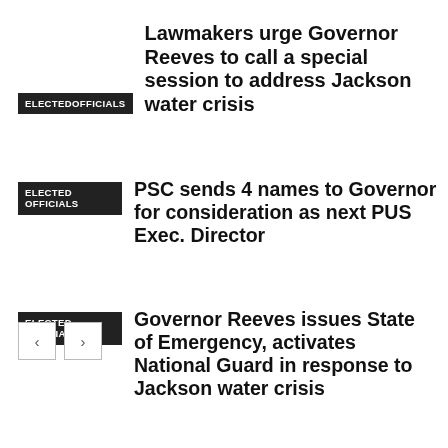Lawmakers urge Governor Reeves to call a special session to address Jackson water crisis
PSC sends 4 names to Governor for consideration as next PUS Exec. Director
Governor Reeves issues State of Emergency, activates National Guard in response to Jackson water crisis